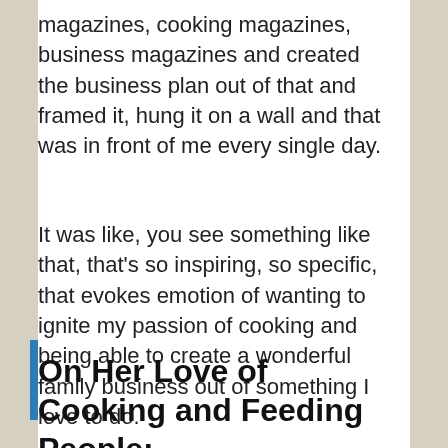magazines, cooking magazines, business magazines and created the business plan out of that and framed it, hung it on a wall and that was in front of me every single day.
It was like, you see something like that, that's so inspiring, so specific, that evokes emotion of wanting to ignite my passion of cooking and being able to create a wonderful family business out of something I love to do.
On Her Love of Cooking and Feeding People: